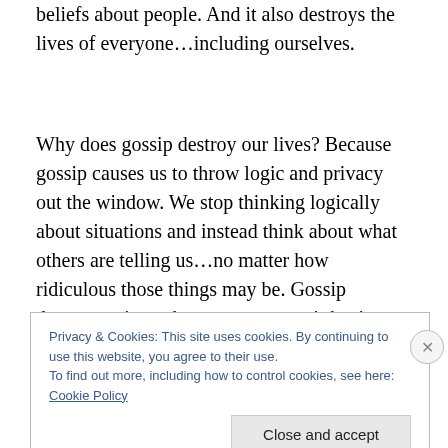beliefs about people. And it also destroys the lives of everyone…including ourselves.
Why does gossip destroy our lives? Because gossip causes us to throw logic and privacy out the window. We stop thinking logically about situations and instead think about what others are telling us…no matter how ridiculous those things may be. Gossip destroys privacy because everyone's business is now our business. That way of thinking permeates all aspects of our lives. It becomes the norm for how we think about things.
Privacy & Cookies: This site uses cookies. By continuing to use this website, you agree to their use. To find out more, including how to control cookies, see here: Cookie Policy
Close and accept